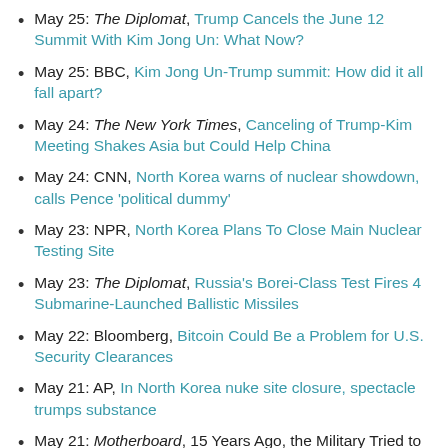May 25: The Diplomat, Trump Cancels the June 12 Summit With Kim Jong Un: What Now?
May 25: BBC, Kim Jong Un-Trump summit: How did it all fall apart?
May 24: The New York Times, Canceling of Trump-Kim Meeting Shakes Asia but Could Help China
May 24: CNN, North Korea warns of nuclear showdown, calls Pence 'political dummy'
May 23: NPR, North Korea Plans To Close Main Nuclear Testing Site
May 23: The Diplomat, Russia's Borei-Class Test Fires 4 Submarine-Launched Ballistic Missiles
May 22: Bloomberg, Bitcoin Could Be a Problem for U.S. Security Clearances
May 21: AP, In North Korea nuke site closure, spectacle trumps substance
May 21: Motherboard, 15 Years Ago, the Military Tried to Record Whole Human Lives. It Ended